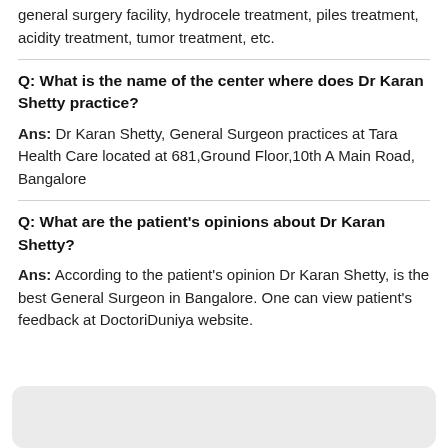general surgery facility, hydrocele treatment, piles treatment, acidity treatment, tumor treatment, etc.
Q: What is the name of the center where does Dr Karan Shetty practice?
Ans: Dr Karan Shetty, General Surgeon practices at Tara Health Care located at 681,Ground Floor,10th A Main Road, Bangalore
Q: What are the patient's opinions about Dr Karan Shetty?
Ans: According to the patient's opinion Dr Karan Shetty, is the best General Surgeon in Bangalore. One can view patient's feedback at DoctoriDuniya website.